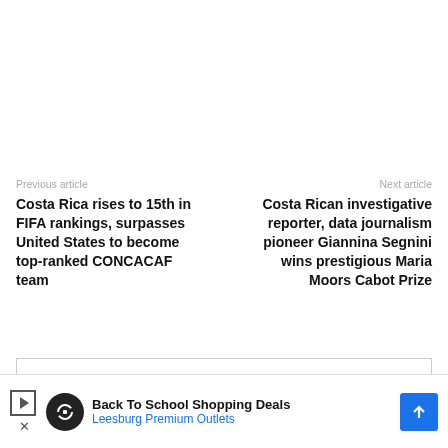Previous article
Costa Rica rises to 15th in FIFA rankings, surpasses United States to become top-ranked CONCACAF team
Next article
Costa Rican investigative reporter, data journalism pioneer Giannina Segnini wins prestigious Maria Moors Cabot Prize
[Figure (other): Promotional box with teal graphic partially visible]
[Figure (other): Advertisement banner: Back To School Shopping Deals, Leesburg Premium Outlets]